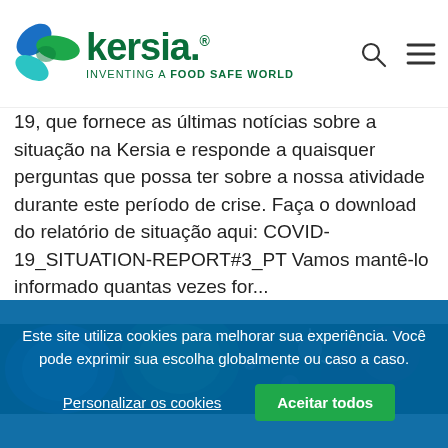[Figure (logo): Kersia logo with butterfly icon, company name in green, and tagline INVENTING A FOOD SAFE WORLD]
19, que fornece as últimas notícias sobre a situação na Kersia e responde a quaisquer perguntas que possa ter sobre a nossa atividade durante este período de crise. Faça o download do relatório de situação aqui: COVID-19_SITUATION-REPORT#3_PT Vamos mantê-lo informado quantas vezes for...
[Figure (photo): Microscopic image showing virus particles and bacteria in blue, green, and red tones]
Este site utiliza cookies para melhorar sua experiência. Você pode exprimir sua escolha globalmente ou caso a caso.
Personalizar os cookies
Aceitar todos